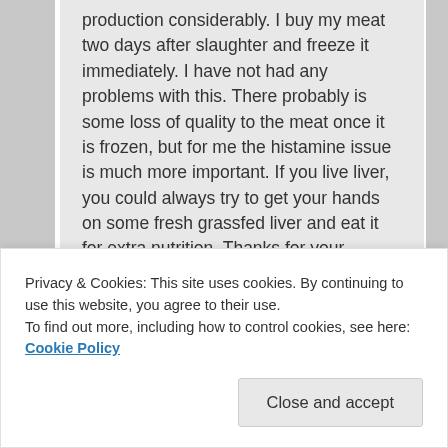production considerably. I buy my meat two days after slaughter and freeze it immediately. I have not had any problems with this. There probably is some loss of quality to the meat once it is frozen, but for me the histamine issue is much more important. If you live liver, you could always try to get your hands on some fresh grassfed liver and eat it for extra nutrition. Thanks for your questions.
★ Like
Reply ↓
Privacy & Cookies: This site uses cookies. By continuing to use this website, you agree to their use.
To find out more, including how to control cookies, see here: Cookie Policy
Close and accept